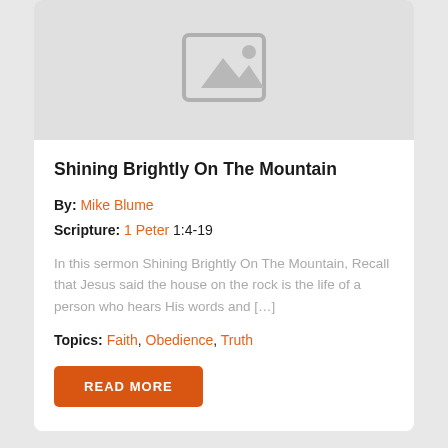[Figure (illustration): Placeholder image icon showing a grey rectangle with a mountain/landscape silhouette symbol in lighter grey]
Shining Brightly On The Mountain
By: Mike Blume
Scripture: 1 Peter 1:4-19
In this sermon Shining Brightly On The Mountain, Recall that Jesus said the house on the rock is the life of a person who hears His words and […]
Topics: Faith, Obedience, Truth
READ MORE